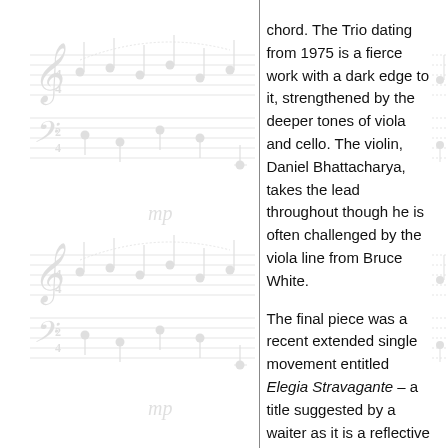[Figure (illustration): Music score sheet notation shown as background watermark on the left column, featuring treble and bass clef staves with notes and mp dynamic marking, repeated twice.]
chord. The Trio dating from 1975 is a fierce work with a dark edge to it, strengthened by the deeper tones of viola and cello. The violin, Daniel Bhattacharya, takes the lead throughout though he is often challenged by the viola line from Bruce White.
The final piece was a recent extended single movement entitled Elegia Stravagante – a title suggested by a waiter as it is a reflective elegy which ends with unexpected enthusiasm. Though Howard Blake admitted there are strong auto-biographical elements within it, the piece moves rapidly as a whole with universal rather than
[Figure (illustration): Music score sheet notation shown as background watermark on the right side of the page, partial stave visible.]